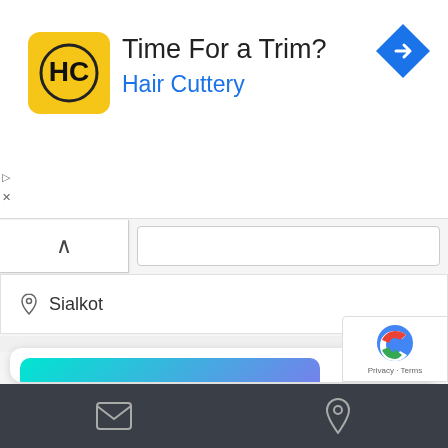[Figure (screenshot): Hair Cuttery advertisement banner with yellow HC logo, text 'Time For a Trim?' and 'Hair Cuttery' in blue, and a blue navigation diamond icon top right]
Sialkot
[Figure (photo): Placeholder image card with teal-to-purple gradient background for Masjid Bilal Sialkot]
Masjid Bilal Sialkot
Be the first one to rate!
mosque
[Figure (screenshot): Google reCAPTCHA badge with Privacy and Terms text]